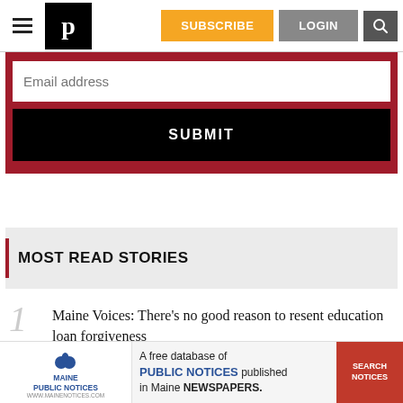P [logo] | SUBSCRIBE | LOGIN | [search]
[Figure (screenshot): Email address input field with white background inside a dark red signup box]
SUBMIT
MOST READ STORIES
Maine Voices: There’s no good reason to resent education loan forgiveness
[Figure (infographic): Ad banner: Maine Public Notices - A free database of PUBLIC NOTICES published in Maine NEWSPAPERS. SEARCH NOTICES button.]